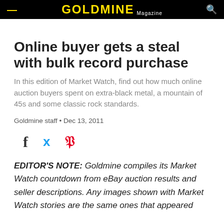GOLDMINE Magazine
Online buyer gets a steal with bulk record purchase
In this edition of Market Watch, find out how much online auction buyers spent on extra-black metal, a mountain of 45s and some classic rock standards.
Goldmine staff • Dec 13, 2011
[Figure (other): Social share icons: Facebook (f), Twitter (bird), Pinterest (P)]
EDITOR'S NOTE: Goldmine compiles its Market Watch countdown from eBay auction results and seller descriptions. Any images shown with Market Watch stories are the same ones that appeared